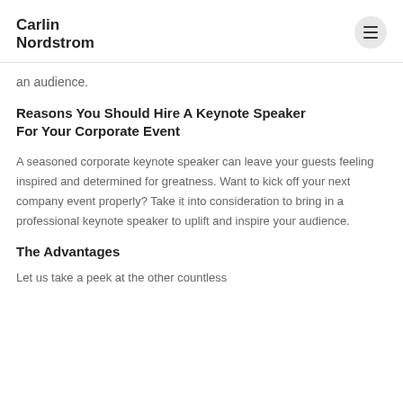Carlin Nordstrom
an audience.
Reasons You Should Hire A Keynote Speaker For Your Corporate Event
A seasoned corporate keynote speaker can leave your guests feeling inspired and determined for greatness. Want to kick off your next company event properly? Take it into consideration to bring in a professional keynote speaker to uplift and inspire your audience.
The Advantages
Let us take a peek at the other countless